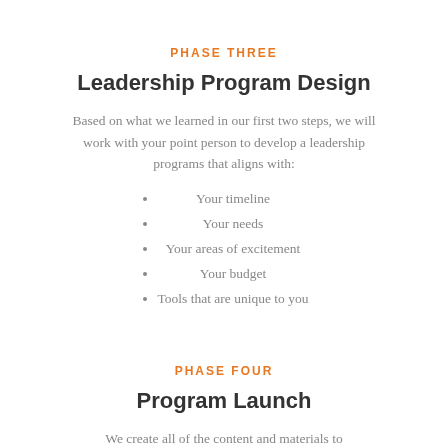PHASE THREE
Leadership Program Design
Based on what we learned in our first two steps, we will work with your point person to develop a leadership programs that aligns with:
Your timeline
Your needs
Your areas of excitement
Your budget
Tools that are unique to you
PHASE FOUR
Program Launch
We create all of the content and materials to